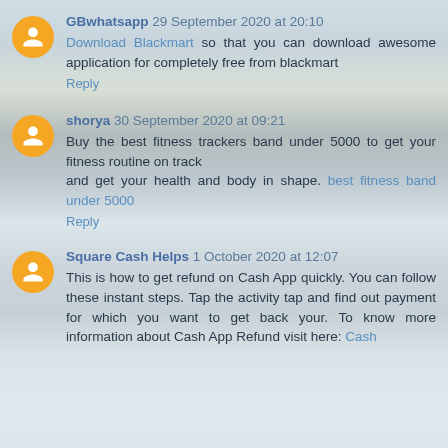GBwhatsapp 29 September 2020 at 20:10
Download Blackmart so that you can download awesome application for completely free from blackmart
Reply
shorya 30 September 2020 at 09:21
Buy the best fitness trackers band under 5000 to get your fitness routine on track and get your health and body in shape. best fitness band under 5000
Reply
Square Cash Helps 1 October 2020 at 12:07
This is how to get refund on Cash App quickly. You can follow these instant steps. Tap the activity tap and find out payment for which you want to get back your. To know more information about Cash App Refund visit here: Cash